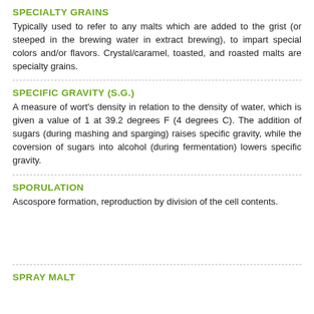SPECIALTY GRAINS
Typically used to refer to any malts which are added to the grist (or steeped in the brewing water in extract brewing), to impart special colors and/or flavors. Crystal/caramel, toasted, and roasted malts are specialty grains.
SPECIFIC GRAVITY (S.G.)
A measure of wort's density in relation to the density of water, which is given a value of 1 at 39.2 degrees F (4 degrees C). The addition of sugars (during mashing and sparging) raises specific gravity, while the coversion of sugars into alcohol (during fermentation) lowers specific gravity.
SPORULATION
Ascospore formation, reproduction by division of the cell contents.
SPRAY MALT